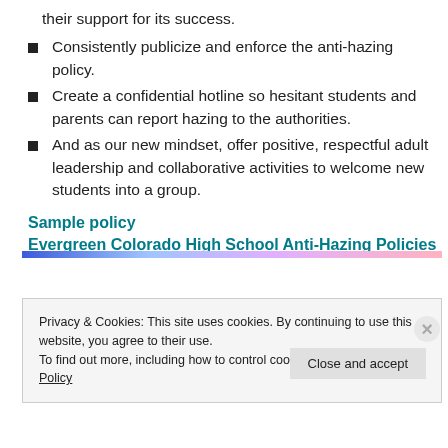their support for its success.
Consistently publicize and enforce the anti-hazing policy.
Create a confidential hotline so hesitant students and parents can report hazing to the authorities.
And as our new mindset, offer positive, respectful adult leadership and collaborative activities to welcome new students into a group.
Sample policy
Evergreen Colorado High School Anti-Hazing Policies
Privacy & Cookies: This site uses cookies. By continuing to use this website, you agree to their use.
To find out more, including how to control cookies, see here: Cookie Policy
Close and accept